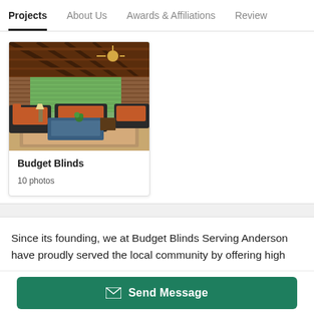Projects | About Us | Awards & Affiliations | Review
[Figure (photo): Interior patio/outdoor living space with wooden beam ceiling, horizontal window blinds/shutters, wicker furniture with orange/red cushions, and a blue coffee table on an area rug]
Budget Blinds
10 photos
Since its founding, we at Budget Blinds Serving Anderson have proudly served the local community by offering high
Send Message